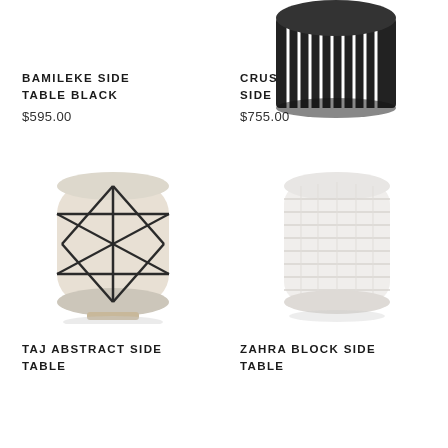[Figure (photo): Crusoe Slatted Side Table Black - cylindrical black slatted side table, partially visible at top of page]
BAMILEKE SIDE TABLE BLACK
$595.00
CRUSOE SLATTED SIDE TABLE BLACK
$755.00
[Figure (photo): Taj Abstract Side Table - cylindrical side table with geometric black line pattern on white/cream surface]
[Figure (photo): Zahra Block Side Table - white cylindrical woven/textured side table]
TAJ ABSTRACT SIDE TABLE
ZAHRA BLOCK SIDE TABLE